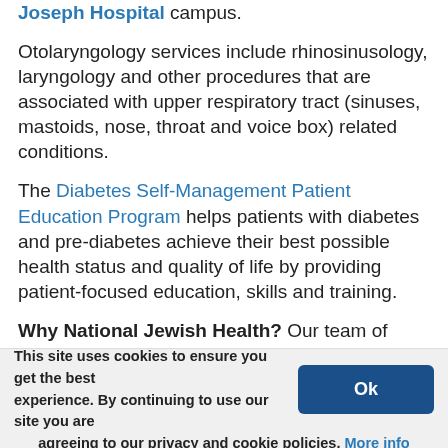Joseph Hospital campus.
Otolaryngology services include rhinosinusology, laryngology and other procedures that are associated with upper respiratory tract (sinuses, mastoids, nose, throat and voice box) related conditions.
The Diabetes Self-Management Patient Education Program helps patients with diabetes and pre-diabetes achieve their best possible health status and quality of life by providing patient-focused education, skills and training.
Why National Jewish Health? Our team of experts is focused exclusively on complex pulmonary and thoracic procedures and surgeries as well as complex autoimmune mediated diseases. We are leading in the area of respiratory
This site uses cookies to ensure you get the best experience. By continuing to use our site you are agreeing to our privacy and cookie policies. More info